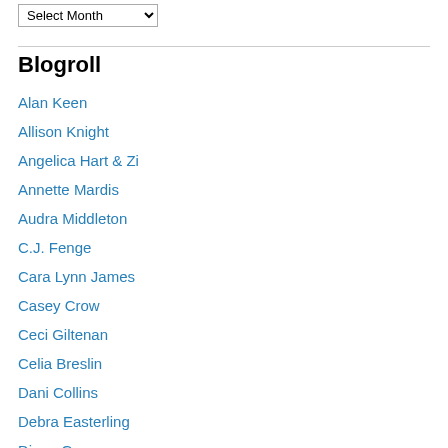Select Month (dropdown)
Blogroll
Alan Keen
Allison Knight
Angelica Hart & Zi
Annette Mardis
Audra Middleton
C.J. Fenge
Cara Lynn James
Casey Crow
Ceci Giltenan
Celia Breslin
Dani Collins
Debra Easterling
Diana Green
Don McNair
Eden Carson